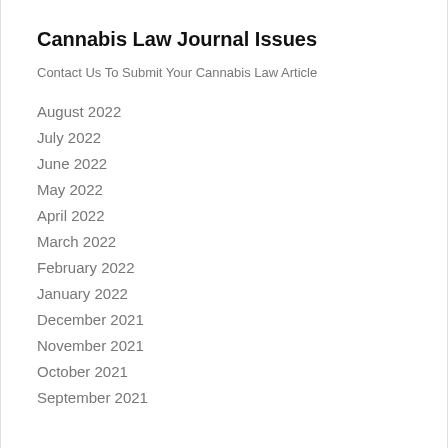Cannabis Law Journal Issues
Contact Us To Submit Your Cannabis Law Article
August 2022
July 2022
June 2022
May 2022
April 2022
March 2022
February 2022
January 2022
December 2021
November 2021
October 2021
September 2021